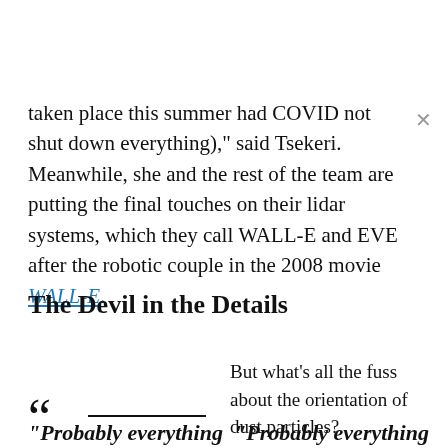taken place this summer had COVID not shut down everything), said Tsekeri. Meanwhile, she and the rest of the team are putting the final touches on their lidar systems, which they call WALL-E and EVE after the robotic couple in the 2008 movie WALL-E.
The Devil in the Details
But what's all the fuss about the orientation of dust particles?
“Probably everything
“Probably everything